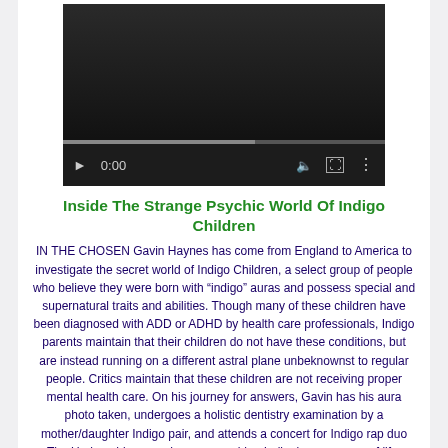[Figure (screenshot): Embedded video player with dark background, playback controls showing 0:00, volume icon, fullscreen icon, and more options icon, with a progress bar at the bottom]
Inside The Strange Psychic World Of Indigo Children
IN THE CHOSEN Gavin Haynes has come from England to America to investigate the secret world of Indigo Children, a select group of people who believe they were born with "indigo" auras and possess special and supernatural traits and abilities. Though many of these children have been diagnosed with ADD or ADHD by health care professionals, Indigo parents maintain that their children do not have these conditions, but are instead running on a different astral plane unbeknownst to regular people. Critics maintain that these children are not receiving proper mental health care. On his journey for answers, Gavin has his aura photo taken, undergoes a holistic dentistry examination by a mother/daughter Indigo pair, and attends a concert for Indigo rap duo The Underachievers, who are preaching Indigoism as a way of life. WATCH NEXT: Music For Dogs, By Dogs: http://bit.ly/23CoyPz Click here to subscribe to VICE: http://bit.ly/Subscribe-to-VICE Check out our full video catalog: http://bit.ly/VICE-Videos Videos, daily editorial and more: